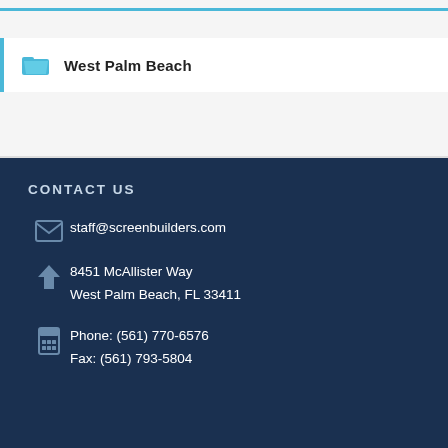West Palm Beach
CONTACT US
staff@screenbuilders.com
8451 McAllister Way
West Palm Beach, FL 33411
Phone: (561) 770-6576
Fax: (561) 793-5804